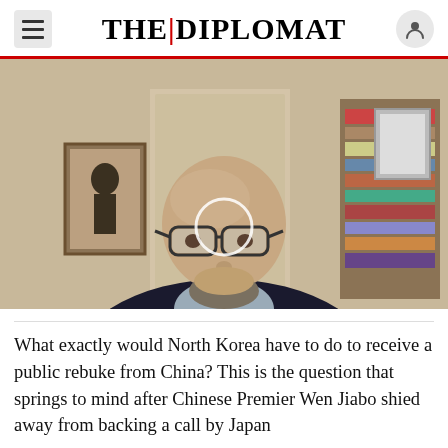THE DIPLOMAT
[Figure (screenshot): Video still of a bald man with glasses and a beard, wearing a dark blazer, in a home office setting with bookshelves and a poster in the background. A circular play/loading icon overlay appears in the center of the image.]
What exactly would North Korea have to do to receive a public rebuke from China? This is the question that springs to mind after Chinese Premier Wen Jiabo shied away from backing a call by Japan